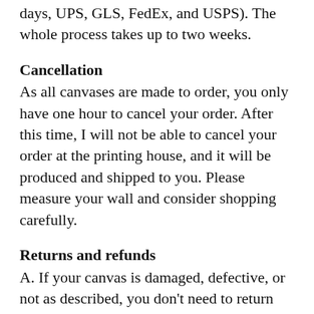days, UPS, GLS, FedEx, and USPS). The whole process takes up to two weeks.
Cancellation
As all canvases are made to order, you only have one hour to cancel your order. After this time, I will not be able to cancel your order at the printing house, and it will be produced and shipped to you. Please measure your wall and consider shopping carefully.
Returns and refunds
A. If your canvas is damaged, defective, or not as described, you don't need to return anything. I will ship you a new canvas or issue a full refund. I only need three good-quality photos, including one showing the entire item (for the complaint department in the printing house). B. Items bought on sale are not returnable, but I will ship you a new canvas or issue a full refund if they arrive damaged, defective, or not as described. C. In the